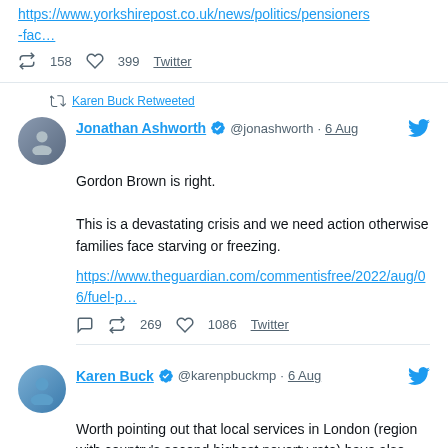https://www.yorkshirepost.co.uk/news/politics/pensioners-fac…
↺ 158  ♡ 399  Twitter
↺ Karen Buck Retweeted
Jonathan Ashworth @jonashworth · 6 Aug
Gordon Brown is right.

This is a devastating crisis and we need action otherwise families face starving or freezing.
https://www.theguardian.com/commentisfree/2022/aug/06/fuel-p…
↺ 269  ♡ 1086  Twitter
Karen Buck @karenpbuckmp · 6 Aug
Worth pointing out that local services in London (region with country's second highest poverty rate) have also taken a 21% cut, alongside the hammering given to